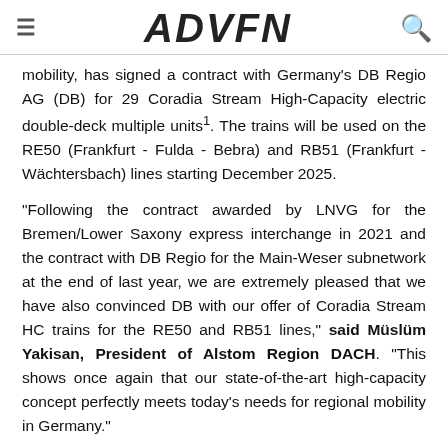ADVFN
mobility, has signed a contract with Germany's DB Regio AG (DB) for 29 Coradia Stream High-Capacity electric double-deck multiple units1. The trains will be used on the RE50 (Frankfurt - Fulda - Bebra) and RB51 (Frankfurt - Wächtersbach) lines starting December 2025.
"Following the contract awarded by LNVG for the Bremen/Lower Saxony express interchange in 2021 and the contract with DB Regio for the Main-Weser subnetwork at the end of last year, we are extremely pleased that we have also convinced DB with our offer of Coradia Stream HC trains for the RE50 and RB51 lines," said Müslüm Yakisan, President of Alstom Region DACH. "This shows once again that our state-of-the-art high-capacity concept perfectly meets today's needs for regional mobility in Germany."